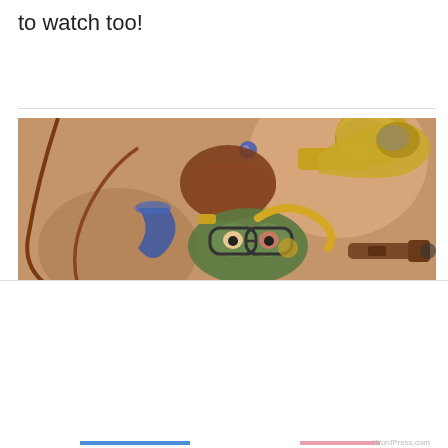to watch too!
November 23, 2014
[Figure (illustration): Fantasy steampunk illustration of a creature wearing glasses holding various brass instruments, a telescope, and other gadgets against a warm brown background.]
Privacy & Cookies: This site uses cookies. By continuing to use this website, you agree to their use.
To find out more, including how to control cookies, see here: Cookie Policy
Close and accept